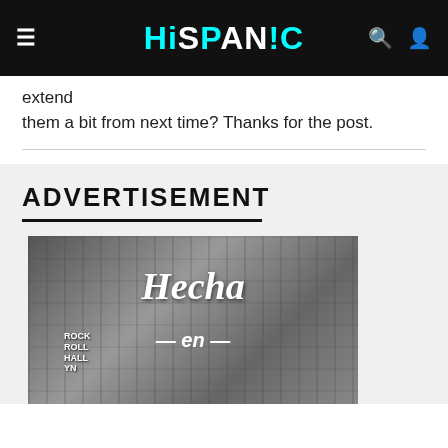HiSPAN!C
extend
them a bit from next time? Thanks for the post.
ADVERTISEMENT
[Figure (photo): Black and white photo of a city street with skyscrapers and signs, overlaid with cursive script text reading 'Hecha -en-']